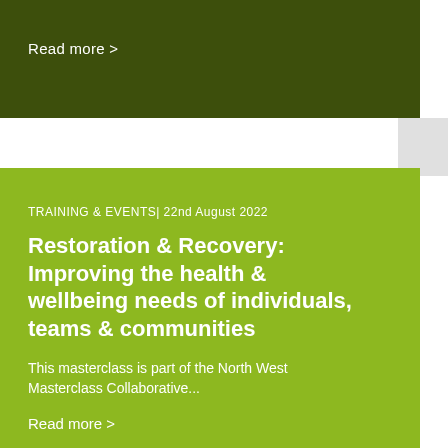Read more >
TRAINING & EVENTS| 22nd August 2022
Restoration & Recovery: Improving the health & wellbeing needs of individuals, teams & communities
This masterclass is part of the North West Masterclass Collaborative...
Read more >